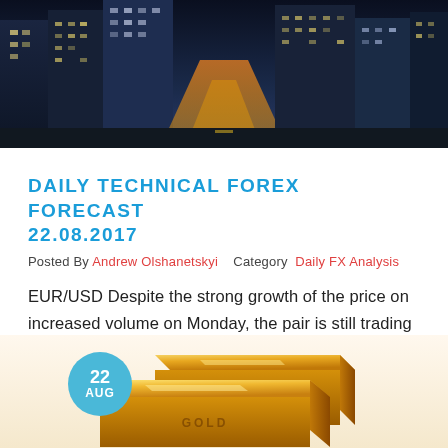[Figure (photo): Night cityscape with illuminated skyscrapers and a glowing street running through the city center]
DAILY TECHNICAL FOREX FORECAST 22.08.2017
Posted By Andrew Olshanetskyi   Category  Daily FX Analysis
EUR/USD Despite the strong growth of the price on increased volume on Monday, the pair is still trading in the global consolidation. So basically,...
Read More
[Figure (photo): Gold bars stacked together with a circular date badge showing '22 AUG' in the lower left]